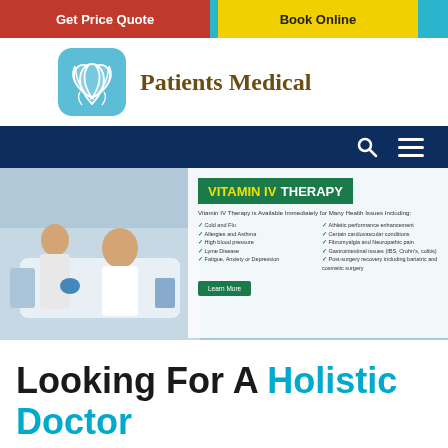Get Price Quote | Book Online
[Figure (logo): Patients Medical logo with teal rounded-square icon containing a white lotus flower and text 'Patients Medical']
[Figure (screenshot): Hero banner for Vitamin IV Therapy with medical staff photo on left and text overlay on right listing health issues treated]
Looking For A Holistic Doctor In NYC Then Begin Your